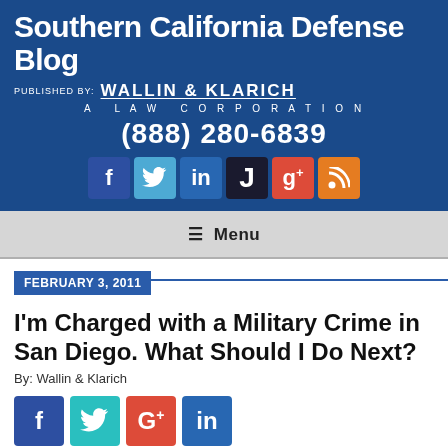Southern California Defense Blog — Published by: Wallin & Klarich, A Law Corporation — (888) 280-6839
≡ Menu
FEBRUARY 3, 2011
I'm Charged with a Military Crime in San Diego. What Should I Do Next?
By: Wallin & Klarich
[Figure (infographic): Social share buttons: Facebook (blue), Twitter (teal), Google+ (red), LinkedIn (blue)]